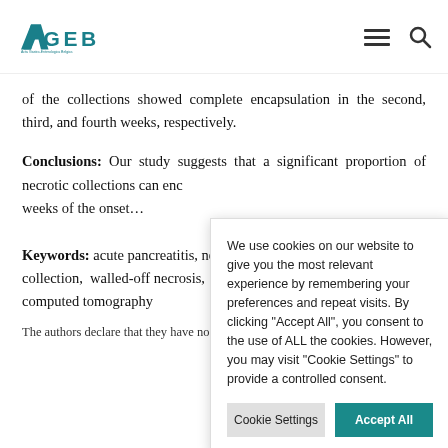AGEB – Acta Gastro-Enterologica Belgica [logo and navigation]
of the collections showed complete encapsulation in the second, third, and fourth weeks, respectively.
Conclusions: Our study suggests that a significant proportion of necrotic collec[tions can encapsulate within the first few] weeks of the ons[et].
Keywords: acut[e pancreatitis, necrotic] collection, walle[d-off necrosis,] computed tomogr[aphy]
The authors declare th[at they have no conflict of interest.]